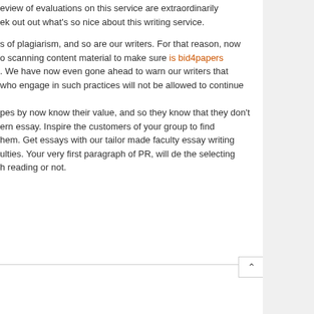eview of evaluations on this service are extraordinarily ek out out what's so nice about this writing service.
s of plagiarism, and so are our writers. For that reason, now o scanning content material to make sure is bid4papers . We have now even gone ahead to warn our writers that who engage in such practices will not be allowed to continue
pes by now know their value, and so they know that they don't ern essay. Inspire the customers of your group to find hem. Get essays with our tailor made faculty essay writing ulties. Your very first paragraph of PR, will de the selecting h reading or not.